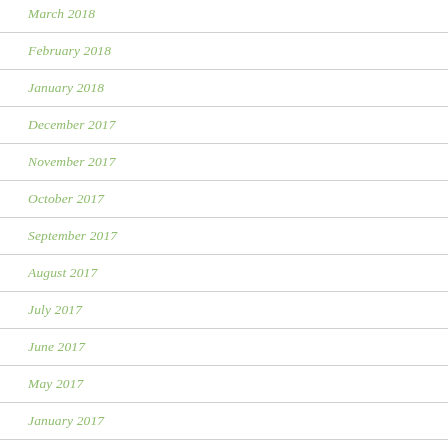March 2018
February 2018
January 2018
December 2017
November 2017
October 2017
September 2017
August 2017
July 2017
June 2017
May 2017
January 2017